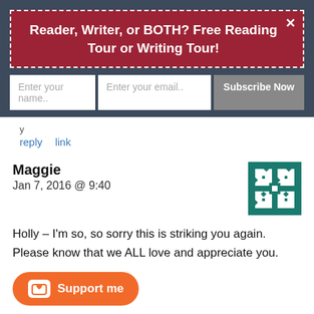Reader, Writer, or BOTH? Free Reading Tour or Writing Tour!
Enter your name..  Enter your email..  Subscribe Now
reply  link
Maggie
Jan 7, 2016 @ 9:40
Holly – I'm so, so sorry this is striking you again. Please know that we ALL love and appreciate you.
[Figure (logo): Green and white geometric star/snowflake pattern avatar icon]
Support me
sing spondylitis and
Pl... arthritis and all the pain that